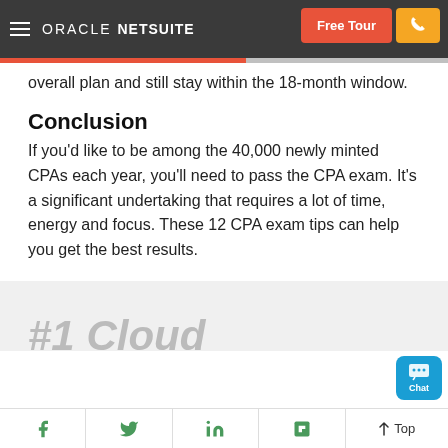ORACLE NETSUITE — Free Tour
overall plan and still stay within the 18-month window.
Conclusion
If you'd like to be among the 40,000 newly minted CPAs each year, you'll need to pass the CPA exam. It's a significant undertaking that requires a lot of time, energy and focus. These 12 CPA exam tips can help you get the best results.
Facebook Twitter LinkedIn Flipboard ↑ Top